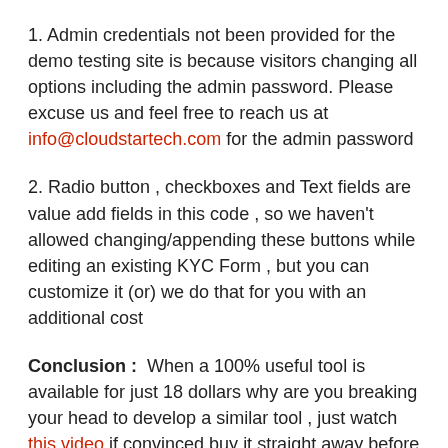1. Admin credentials not been provided for the demo testing site is because visitors changing all options including the admin password. Please excuse us and feel free to reach us at info@cloudstartech.com for the admin password
2. Radio button , checkboxes and Text fields are value add fields in this code , so we haven't allowed changing/appending these buttons while editing an existing KYC Form , but you can customize it (or) we do that for you with an additional cost
Conclusion : When a 100% useful tool is available for just 18 dollars why are you breaking your head to develop a similar tool , just watch this video if convinced buy it straight away before the price shoots up! Many Thanks